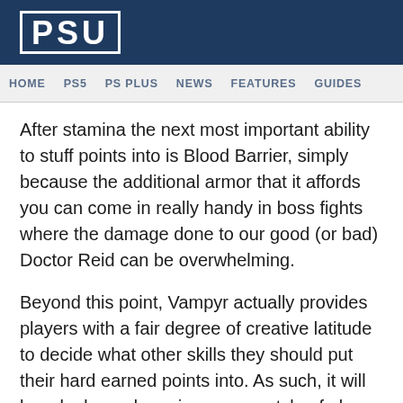PSU
HOME   PS5   PS PLUS   NEWS   FEATURES   GUIDES
After stamina the next most important ability to stuff points into is Blood Barrier, simply because the additional armor that it affords you can come in really handy in boss fights where the damage done to our good (or bad) Doctor Reid can be overwhelming.
Beyond this point, Vampyr actually provides players with a fair degree of creative latitude to decide what other skills they should put their hard earned points into. As such, it will largely depend, again, on your style of play and good ol' fashioned common sense.